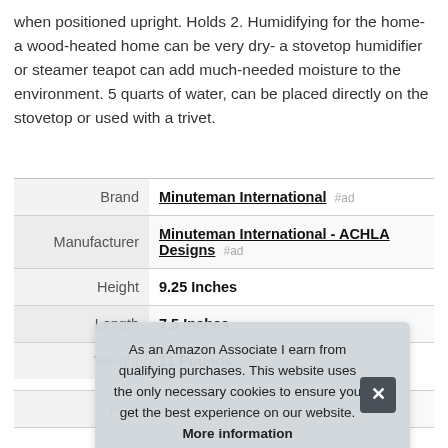when positioned upright. Holds 2. Humidifying for the home- a wood-heated home can be very dry- a stovetop humidifier or steamer teapot can add much-needed moisture to the environment. 5 quarts of water, can be placed directly on the stovetop or used with a trivet.
|  |  |
| --- | --- |
| Brand | Minuteman International #ad |
| Manufacturer | Minuteman International - ACHLA Designs #ad |
| Height | 9.25 Inches |
| Length | 7.5 Inches |
| Weight | 11 Pounds |
| P |  |
As an Amazon Associate I earn from qualifying purchases. This website uses the only necessary cookies to ensure you get the best experience on our website. More information